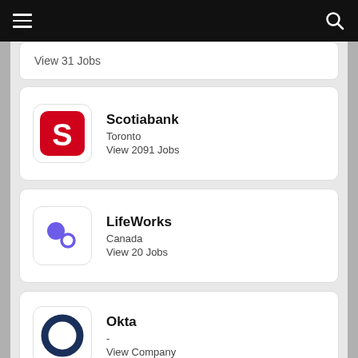View 31 Jobs
[Figure (logo): Scotiabank red logo with stylized S]
Scotiabank
Toronto
View 2091 Jobs
[Figure (logo): LifeWorks logo with two circles (purple and outline)]
LifeWorks
Canada
View 20 Jobs
[Figure (logo): Okta logo dark blue circle ring]
Okta
-
View Company